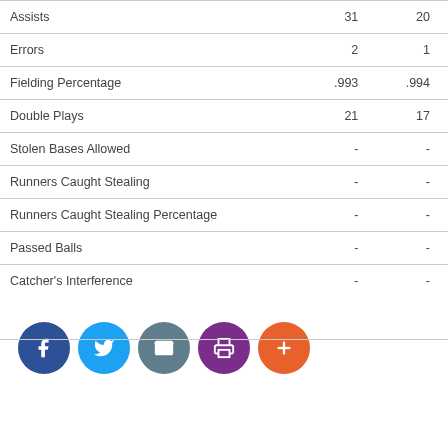|  | Col1 | Col2 |
| --- | --- | --- |
| Assists | 31 | 20 |
| Errors | 2 | 1 |
| Fielding Percentage | .993 | .994 |
| Double Plays | 21 | 17 |
| Stolen Bases Allowed | - | - |
| Runners Caught Stealing | - | - |
| Runners Caught Stealing Percentage | - | - |
| Passed Balls | - | - |
| Catcher's Interference | - | - |
[Figure (infographic): Row of five social sharing buttons: Facebook (blue), Twitter (light blue), Email (grey-teal), Print (purple), Add/Plus (orange-red)]